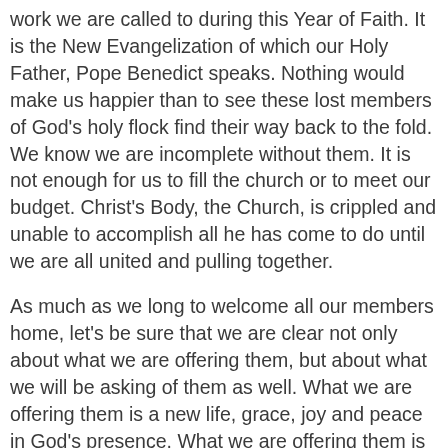work we are called to during this Year of Faith. It is the New Evangelization of which our Holy Father, Pope Benedict speaks. Nothing would make us happier than to see these lost members of God's holy flock find their way back to the fold. We know we are incomplete without them. It is not enough for us to fill the church or to meet our budget. Christ's Body, the Church, is crippled and unable to accomplish all he has come to do until we are all united and pulling together.
As much as we long to welcome all our members home, let's be sure that we are clear not only about what we are offering them, but about what we will be asking of them as well. What we are offering them is a new life, grace, joy and peace in God's presence. What we are offering them is the support and loving embrace of the whole Christian community. What we are offering them is God's